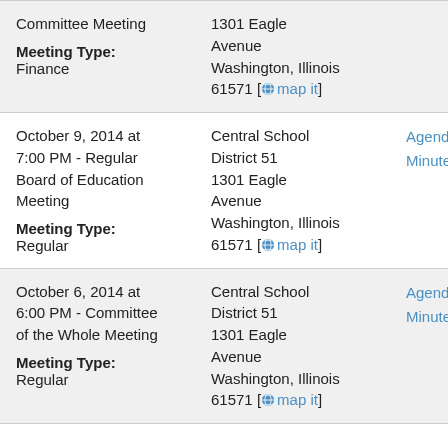Committee Meeting
Meeting Type:
Finance
1301 Eagle Avenue
Washington, Illinois 61571 [map it]
October 9, 2014 at 7:00 PM - Regular Board of Education Meeting
Meeting Type:
Regular
Central School District 51
1301 Eagle Avenue
Washington, Illinois 61571 [map it]
Agenda
Minutes
October 6, 2014 at 6:00 PM - Committee of the Whole Meeting
Meeting Type:
Regular
Central School District 51
1301 Eagle Avenue
Washington, Illinois 61571 [map it]
Agenda
Minutes